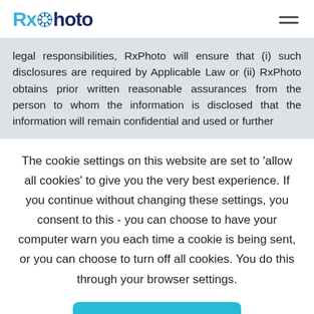RxPhoto [logo with hamburger menu]
legal responsibilities, RxPhoto will ensure that (i) such disclosures are required by Applicable Law or (ii) RxPhoto obtains prior written reasonable assurances from the person to whom the information is disclosed that the information will remain confidential and used or further
The cookie settings on this website are set to 'allow all cookies' to give you the very best experience. If you continue without changing these settings, you consent to this - you can choose to have your computer warn you each time a cookie is being sent, or you can choose to turn off all cookies. You do this through your browser settings.